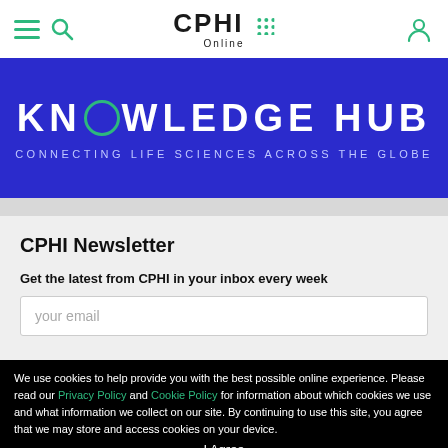CPHI Online – navigation header with hamburger menu, search icon, CPHI Online logo, and user account icon
[Figure (illustration): Blue banner with white text 'KNOWLEDGE HUB' and subtitle 'CONNECTING LIFE SCIENCES ACROSS THE GLOBE']
CPHI Newsletter
Get the latest from CPHI in your inbox every week
your email
We use cookies to help provide you with the best possible online experience. Please read our Privacy Policy and Cookie Policy for information about which cookies we use and what information we collect on our site. By continuing to use this site, you agree that we may store and access cookies on your device.
I Agree